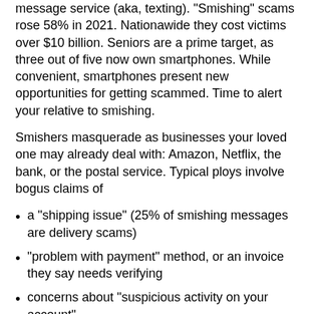message service (aka, texting). “Smishing” scams rose 58% in 2021. Nationawide they cost victims over $10 billion. Seniors are a prime target, as three out of five now own smartphones. While convenient, smartphones present new opportunities for getting scammed. Time to alert your relative to smishing.
Smishers masquerade as businesses your loved one may already deal with: Amazon, Netflix, the bank, or the postal service. Typical ploys involve bogus claims of
a “shipping issue” (25% of smishing messages are delivery scams)
“problem with payment” method, or an invoice they say needs verifying
concerns about “suspicious activity on your account”
Before your loved one gets a scam text, counsel them: